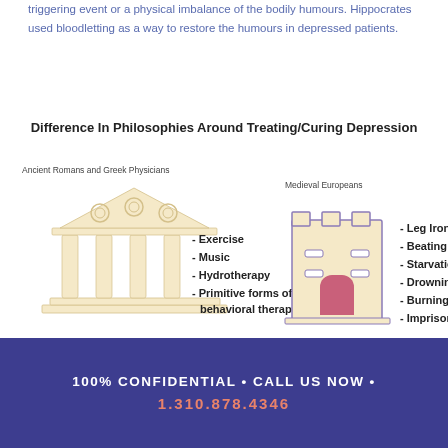triggering event or a physical imbalance of the bodily humours. Hippocrates used bloodletting as a way to restore the humours in depressed patients.
Difference In Philosophies Around Treating/Curing Depression
[Figure (infographic): Infographic comparing Ancient Romans and Greek Physicians (illustrated Greek temple) vs Medieval Europeans (illustrated castle tower). Greek side lists: Exercise, Music, Hydrotherapy, Primitive forms of behavioral therapy. Medieval side lists: Leg Irons, Beating, Starvation, Drowning, Burning, Imprisonment.]
100% CONFIDENTIAL • CALL US NOW • 1.310.878.4346